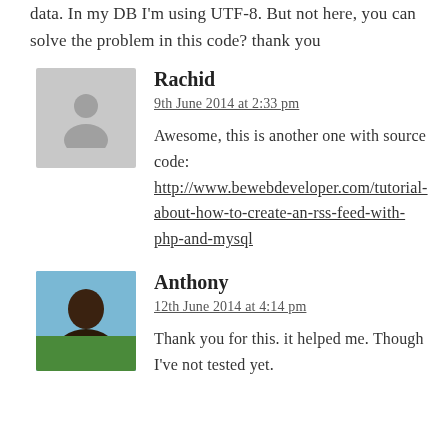data. In my DB I'm using UTF-8. But not here, you can solve the problem in this code? thank you
Rachid
9th June 2014 at 2:33 pm
Awesome, this is another one with source code: http://www.bewebdeveloper.com/tutorial-about-how-to-create-an-rss-feed-with-php-and-mysql
Anthony
12th June 2014 at 4:14 pm
Thank you for this. it helped me. Though I've not tested yet.